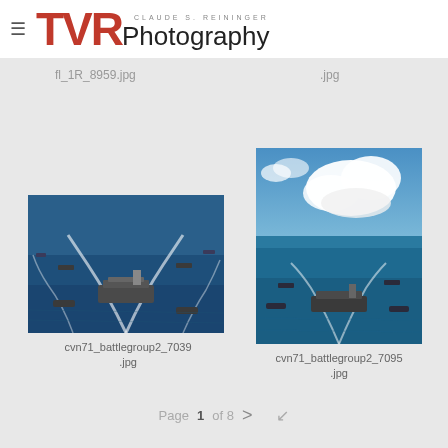TVR Photography — Claude S. Reininger
fl_1R_8959.jpg
.jpg
[Figure (photo): Aerial view of a naval aircraft carrier battle group sailing in blue ocean with white wake trails]
cvn71_battlegroup2_7039.jpg
[Figure (photo): Aerial view of aircraft carrier and escort ships in blue ocean with puffy clouds in background]
cvn71_battlegroup2_7095.jpg
Page 1 of 8